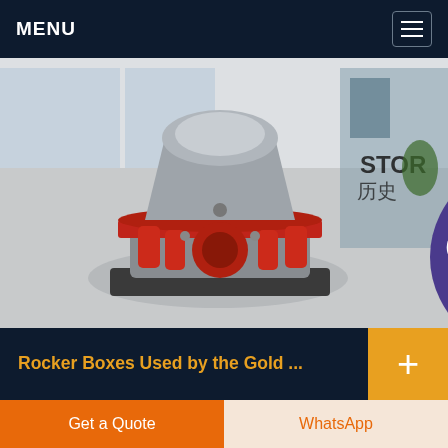MENU
[Figure (photo): Industrial cone crusher machine displayed in a showroom with glass walls, red accent components, on a circular platform. Text 'STOR 历史' visible on right side.]
Rocker Boxes Used by the Gold ...
The rocker box, or "cradle," was a popular tool
Get a Quote
WhatsApp